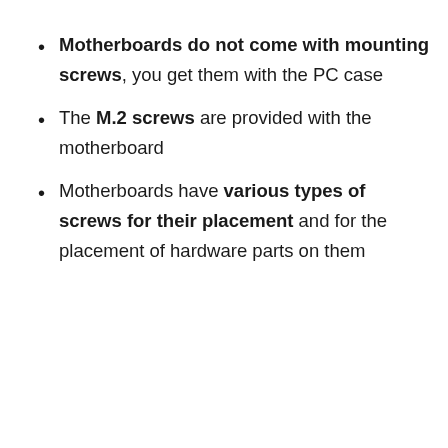Motherboards do not come with mounting screws, you get them with the PC case
The M.2 screws are provided with the motherboard
Motherboards have various types of screws for their placement and for the placement of hardware parts on them